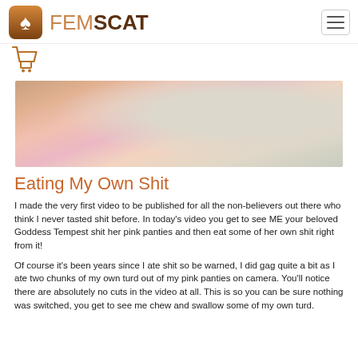FEMSCAT
[Figure (photo): Close-up photo of pink fabric/panties on a tiled floor background]
Eating My Own Shit
I made the very first video to be published for all the non-believers out there who think I never tasted shit before. In today’s video you get to see ME your beloved Goddess Tempest shit her pink panties and then eat some of her own shit right from it!
Of course it’s been years since I ate shit so be warned, I did gag quite a bit as I ate two chunks of my own turd out of my pink panties on camera. You’ll notice there are absolutely no cuts in the video at all. This is so you can be sure nothing was switched, you get to see me chew and swallow some of my own turd.